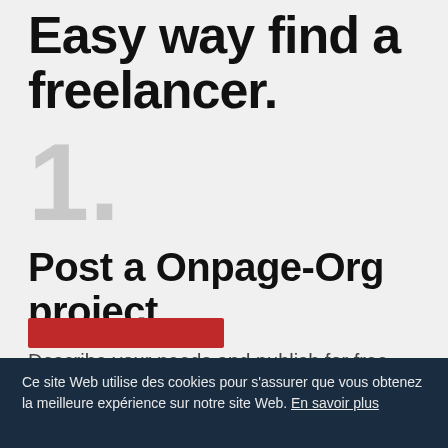Easy way find a freelancer.
1.
Post a Onpage-Org project
Describe your needs and publish for free
Ce site Web utilise des cookies pour s'assurer que vous obtenez la meilleure expérience sur notre site Web. En savoir plus